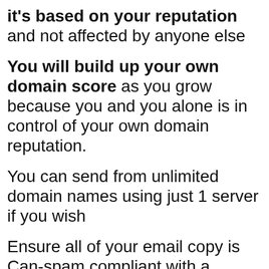it's based on your reputation and not affected by anyone else
You will build up your own domain score as you grow because you and you alone is in control of your own domain reputation.
You can send from unlimited domain names using just 1 server if you wish
Ensure all of your email copy is Can-spam compliant with a simple spam checker provided in the members area to ensure every email passes the test BEFORE YOU SEND IT which in turn improves your